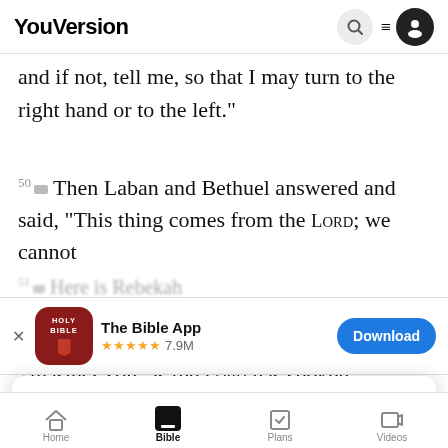YouVersion
and if not, tell me, so that I may turn to the right hand or to the left."
50 Then Laban and Bethuel answered and said, “This thing comes from the LORD; we cannot
[Figure (screenshot): App store banner showing The Bible App with Holy Bible icon, 5 stars, 7.9M ratings, and Download button]
master’s son, as the LORD has spoken
52
words,
YouVersion uses cookies to personalize your experience. By using our website, you accept our use of cookies as described in our Privacy Policy.
Home  Bible  Plans  Videos